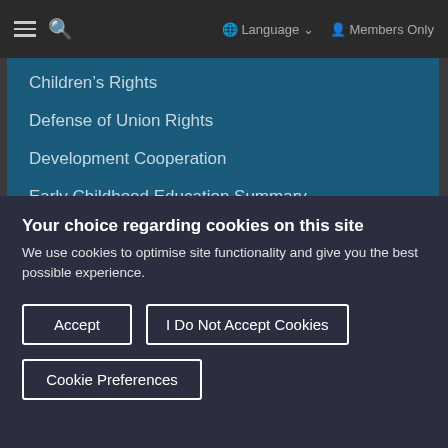≡ 🔍   🌐 Language ∨   👤 Members Only
Children's Rights
Defense of Union Rights
Development Cooperation
Early Childhood Education Summary
Indigenous People's Rights
Early stage teachers
Education and Trade
Your choice regarding cookies on this site
We use cookies to optimise site functionality and give you the best possible experience.
Accept | I Do Not Accept Cookies | Cookie Preferences